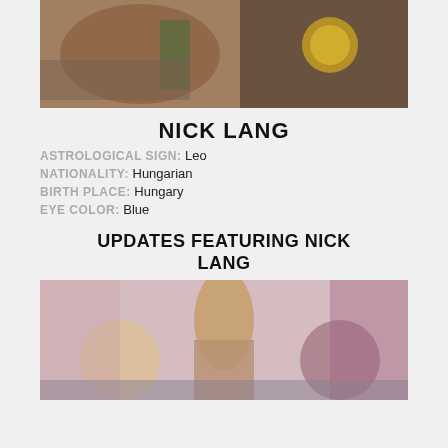[Figure (photo): Top portion of a photo showing a person's arm and a decorative object]
NICK LANG
ASTROLOGICAL SIGN: Leo
NATIONALITY: Hungarian
BIRTH PLACE: Hungary
EYE COLOR: Blue
UPDATES FEATURING NICK LANG
[Figure (photo): Bottom photo showing people in an indoor setting]